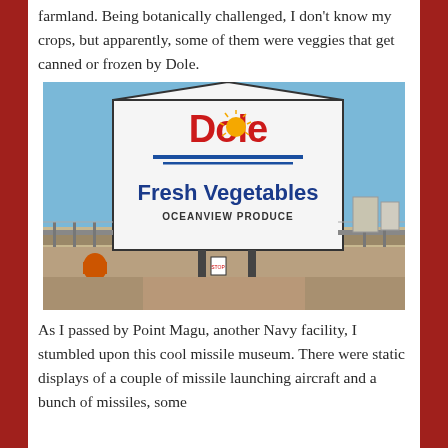farmland. Being botanically challenged, I don't know my crops, but apparently, some of them were veggies that get canned or frozen by Dole.
[Figure (photo): Photograph of a Dole Fresh Vegetables - Oceanview Produce sign in front of a fenced facility with open land and blue sky in the background.]
As I passed by Point Magu, another Navy facility, I stumbled upon this cool missile museum. There were static displays of a couple of missile launching aircraft and a bunch of missiles, some